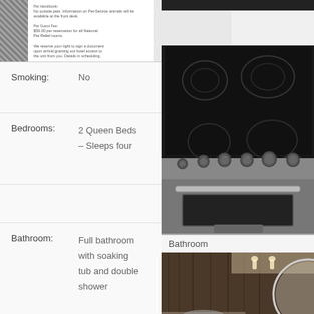[Figure (photo): Document/paper with text visible, partially obscured by a striped/dark left edge — appears to be a rental agreement or information sheet]
[Figure (photo): Close-up photo of a stainless steel range/stove with black glass ceramic cooktop showing four burner circles, and oven door with handle and knobs visible]
Smoking:    No
Bedrooms:   2 Queen Beds – Sleeps four
Bathroom:   Full bathroom with soaking tub and double shower
Bathroom
Amenities
Telephone:  No
[Figure (photo): Bathroom interior with dark wood-paneled wall, wall-mounted lights, and partial view of a round mirror]